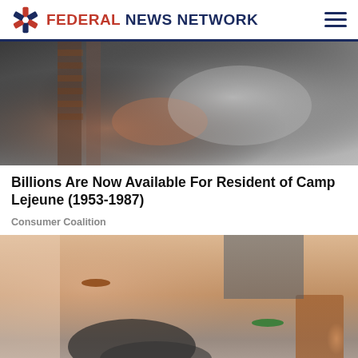FEDERAL NEWS NETWORK
[Figure (photo): Black and white photo of a person in military fatigues holding something near a brick wall]
Billions Are Now Available For Resident of Camp Lejeune (1953-1987)
Consumer Coalition
[Figure (photo): Photo of feet/ankles wearing sandals and jewelry, with a wooden stool visible in the background]